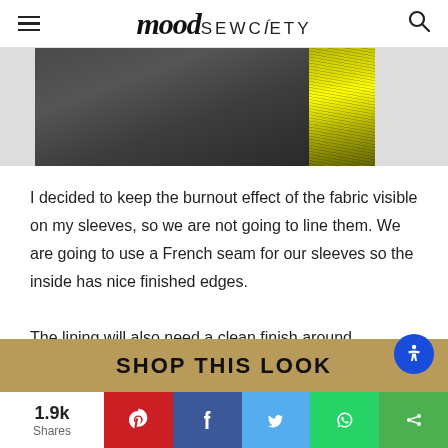mood SEWCIETY
[Figure (photo): Close-up photo of dark gray fabric with a yellow burnout-effect fabric section on the right side]
I decided to keep the burnout effect of the fabric visible on my sleeves, so we are not going to line them. We are going to use a French seam for our sleeves so the inside has nice finished edges.

The lining will also need a clean finish around
SHOP THIS LOOK
1.9k Shares